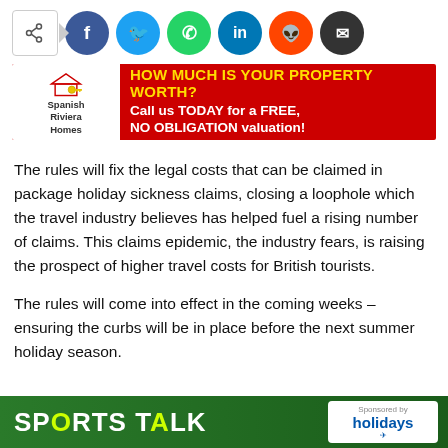[Figure (infographic): Social media share bar with share icon box followed by circular social buttons: Facebook (blue), Twitter (cyan), WhatsApp (green), LinkedIn (blue), Reddit (orange), Email (black)]
[Figure (infographic): Advertisement banner for Spanish Riviera Homes. Red background with white logo section on left showing house and key icon with text 'Spanish Riviera Homes'. Right side in yellow bold text: 'HOW MUCH IS YOUR PROPERTY WORTH?' and white bold text: 'Call us TODAY for a FREE, NO OBLIGATION valuation!']
The rules will fix the legal costs that can be claimed in package holiday sickness claims, closing a loophole which the travel industry believes has helped fuel a rising number of claims. This claims epidemic, the industry fears, is raising the prospect of higher travel costs for British tourists.
The rules will come into effect in the coming weeks – ensuring the curbs will be in place before the next summer holiday season.
[Figure (infographic): Bottom banner showing 'SPORTS TALK' in white and yellow-green text on green background, with a person figure and 'Sponsored by holidays' logo on the right]